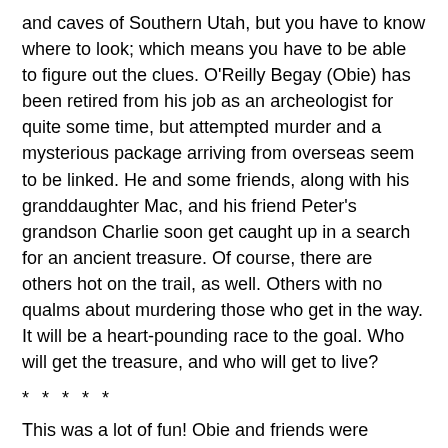and caves of Southern Utah, but you have to know where to look; which means you have to be able to figure out the clues. O'Reilly Begay (Obie) has been retired from his job as an archeologist for quite some time, but attempted murder and a mysterious package arriving from overseas seem to be linked. He and some friends, along with his granddaughter Mac, and his friend Peter's grandson Charlie soon get caught up in a search for an ancient treasure. Of course, there are others hot on the trail, as well. Others with no qualms about murdering those who get in the way. It will be a heart-pounding race to the goal. Who will get the treasure, and who will get to live?
* * * * *
This was a lot of fun! Obie and friends were constantly getting off wisecracks, there was a potential romance in there with Mac and Charlie, the clue deciphering added a bit more for the old intellect to chew on, and in the meantime there was plenty of action with gun fights, kidnappings, and rock climbing shenanigans.
It was a bit of a stretch that one (or two) people just